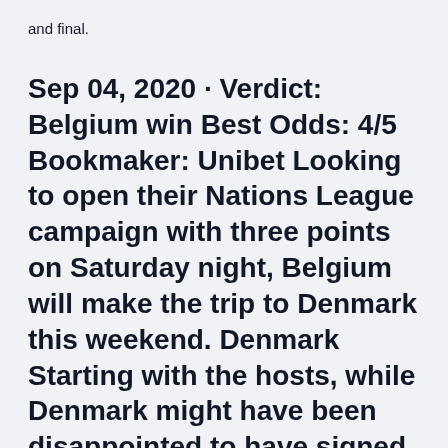and final.
Sep 04, 2020 · Verdict: Belgium win Best Odds: 4/5 Bookmaker: Unibet Looking to open their Nations League campaign with three points on Saturday night, Belgium will make the trip to Denmark this weekend. Denmark Starting with the hosts, while Denmark might have been disappointed to have signed off their delayed European qualifying campaign with a 1-1 draw in